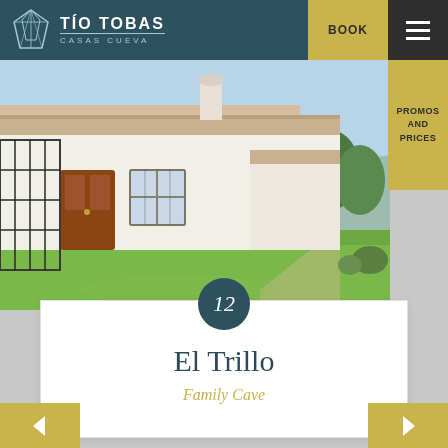TÍO TOBAS CASAS CUEVA
[Figure (photo): Exterior view of a whitewashed Spanish cave house complex with terracotta roof tiles, a wooden door, iron window grille, and a manicured green lawn, with trees and mountains in the background on a sunny day.]
El Trillo
Family Cave